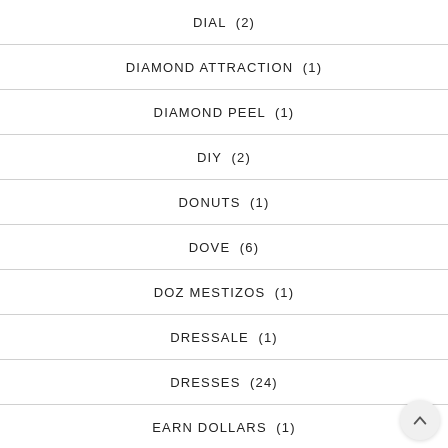DIAL  (2)
DIAMOND ATTRACTION  (1)
DIAMOND PEEL  (1)
DIY  (2)
DONUTS  (1)
DOVE  (6)
DOZ MESTIZOS  (1)
DRESSALE  (1)
DRESSES  (24)
EARN DOLLARS  (1)